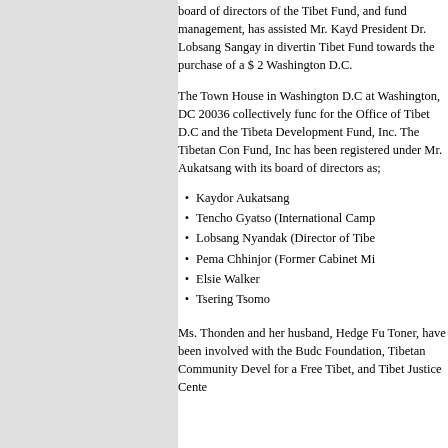board of directors of the Tibet Fund, and fund management, has assisted Mr. Kaydor President Dr. Lobsang Sangay in diverting Tibet Fund towards the purchase of a $ 2 Washington D.C.
The Town House in Washington D.C at Washington, DC 20036 collectively func for the Office of Tibet D.C and the Tibeta Development Fund, Inc. The Tibetan Com Fund, Inc has been registered under Mr. Aukatsang with its board of directors as;
Kaydor Aukatsang
Tencho Gyatso (International Camp
Lobsang Nyandak (Director of Tibe
Pema Chhinjor (Former Cabinet Mi
Elsie Walker
Tsering Tsomo
Ms. Thonden and her husband, Hedge Fu Toner, have been involved with the Budc Foundation, Tibetan Community Devel for a Free Tibet, and Tibet Justice Cente